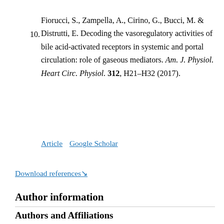10. Fiorucci, S., Zampella, A., Cirino, G., Bucci, M. & Distrutti, E. Decoding the vasoregulatory activities of bile acid-activated receptors in systemic and portal circulation: role of gaseous mediators. Am. J. Physiol. Heart Circ. Physiol. 312, H21–H32 (2017).
Article  Google Scholar
Download references ↓
Author information
Authors and Affiliations